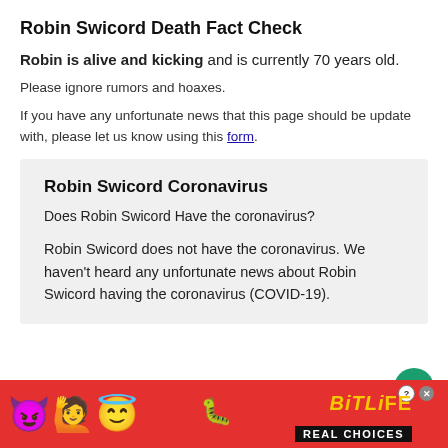Robin Swicord Death Fact Check
Robin is alive and kicking and is currently 70 years old.
Please ignore rumors and hoaxes.
If you have any unfortunate news that this page should be update with, please let us know using this form.
Robin Swicord Coronavirus
Does Robin Swicord Have the coronavirus?
Robin Swicord does not have the coronavirus. We haven't heard any unfortunate news about Robin Swicord having the coronavirus (COVID-19).
[Figure (other): BitLife advertisement banner with emojis, yellow BitLife logo, and 'REAL CHOICES' text on red background]